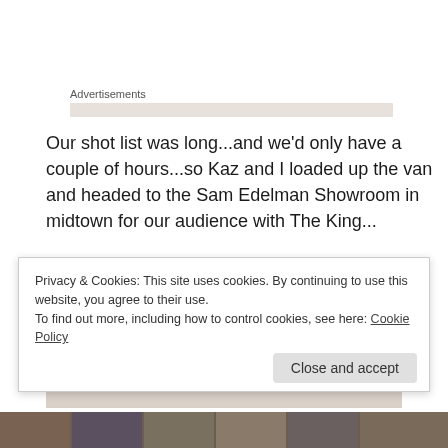Advertisements
Our shot list was long...and we'd only have a couple of hours...so Kaz and I loaded up the van and headed to the Sam Edelman Showroom in midtown for our audience with The King...
The first thing we saw when we arrived was the large showroom area...
[Figure (photo): Interior photo of showroom area with ceiling tracks and lighting rails visible]
Privacy & Cookies: This site uses cookies. By continuing to use this website, you agree to their use.
To find out more, including how to control cookies, see here: Cookie Policy
[Figure (photo): Strip of thumbnail photos at the bottom of the page]